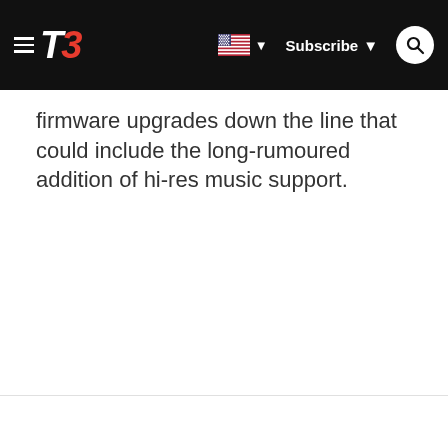T3 — Subscribe
firmware upgrades down the line that could include the long-rumoured addition of hi-res music support.